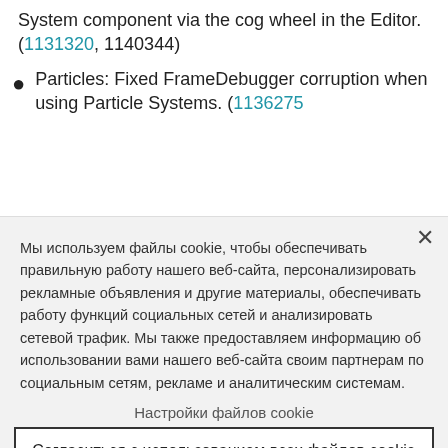System component via the cog wheel in the Editor. (1131320, 1140344)
Particles: Fixed FrameDebugger corruption when using Particle Systems. (1136275
Мы используем файлы cookie, чтобы обеспечивать правильную работу нашего веб-сайта, персонализировать рекламные объявления и другие материалы, обеспечивать работу функций социальных сетей и анализировать сетевой трафик. Мы также предоставляем информацию об использовании вами нашего веб-сайта своим партнерам по социальным сетям, рекламе и аналитическим системам.
Настройки файлов cookie
Согласиться с использованием всех файлов cookie